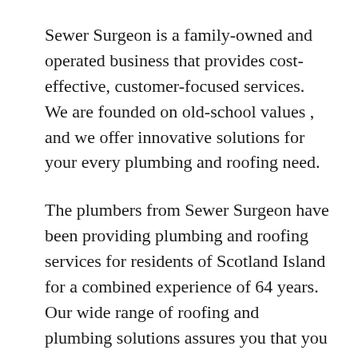Sewer Surgeon is a family-owned and operated business that provides cost-effective, customer-focused services. We are founded on old-school values , and we offer innovative solutions for your every plumbing and roofing need.
The plumbers from Sewer Surgeon have been providing plumbing and roofing services for residents of Scotland Island for a combined experience of 64 years. Our wide range of roofing and plumbing solutions assures you that you will get top-quality service.
Sewer Surgeon, your local Sydney plumber, has solutions for any roofing and plumbing issues. Our top priority is to deliver a superior customer experience. The trust that we have built with our clients is unparalleled in the local community and something we uphold with every project